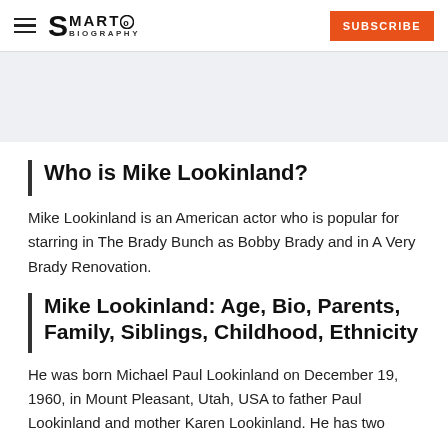SmartoBiography — SUBSCRIBE
Who is Mike Lookinland?
Mike Lookinland is an American actor who is popular for starring in The Brady Bunch as Bobby Brady and in A Very Brady Renovation.
Mike Lookinland: Age, Bio, Parents, Family, Siblings, Childhood, Ethnicity
He was born Michael Paul Lookinland on December 19, 1960, in Mount Pleasant, Utah, USA to father Paul Lookinland and mother Karen Lookinland. He has two